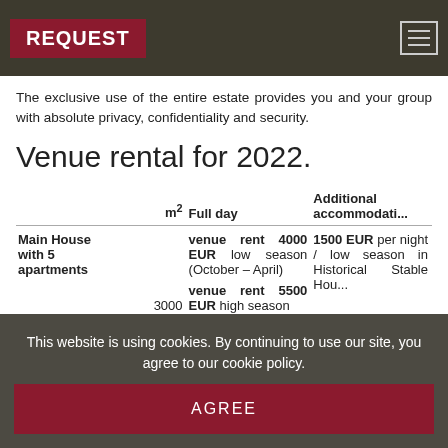REQUEST
The exclusive use of the entire estate provides you and your group with absolute privacy, confidentiality and security.
Venue rental for 2022.
|  | m² | Full day | Additional accommodation |
| --- | --- | --- | --- |
| Main House with 5 apartments | 3000 | venue rent 4000 EUR low season (October – April)
venue rent 5500 EUR high season | 1500 EUR per night / low season in Historical Stable Hou... |
This website is using cookies. By continuing to use our site, you agree to our cookie policy.